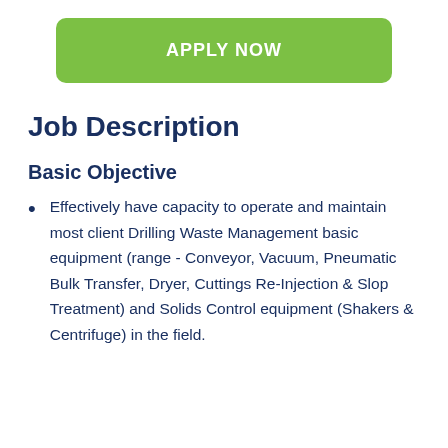[Figure (other): Green rounded button with white bold text 'APPLY NOW']
Job Description
Basic Objective
Effectively have capacity to operate and maintain most client Drilling Waste Management basic equipment (range - Conveyor, Vacuum, Pneumatic Bulk Transfer, Dryer, Cuttings Re-Injection & Slop Treatment) and Solids Control equipment (Shakers & Centrifuge) in the field.